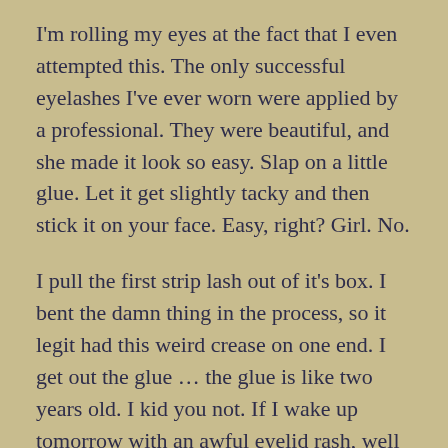I'm rolling my eyes at the fact that I even attempted this. The only successful eyelashes I've ever worn were applied by a professional. They were beautiful, and she made it look so easy. Slap on a little glue. Let it get slightly tacky and then stick it on your face. Easy, right? Girl. No.
I pull the first strip lash out of it's box. I bent the damn thing in the process, so it legit had this weird crease on one end. I get out the glue … the glue is like two years old. I kid you not. If I wake up tomorrow with an awful eyelid rash, well … I guess I'll have my cause. So, said glue is a super tiny tube with no indication of which